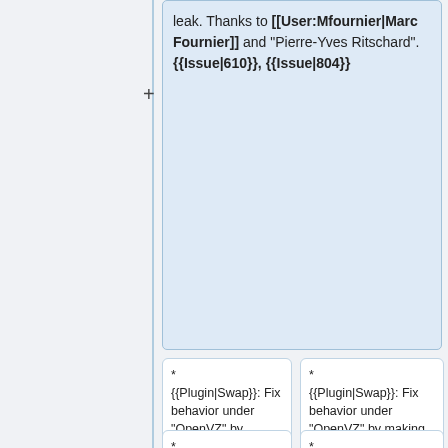leak. Thanks to [[User:Mfournier|Marc Fournier]] and "Pierre-Yves Ritschard". {{Issue|610}}, {{Issue|804}}
* {{Plugin|Swap}}: Fix behavior under "OpenVZ" by making <code>cached</code> optional. Thanks to [[User:Octo|Florian Forster]]. {{Issue|733}}
* {{Plugin|Swap}}: Fix behavior under "OpenVZ" by making <code>cached</code> optional. Thanks to [[User:Octo|Florian Forster]]. {{Issue|733}}
* {{Plugin|Threshold}}: Population of
* {{Plugin|Threshold}}: Population of